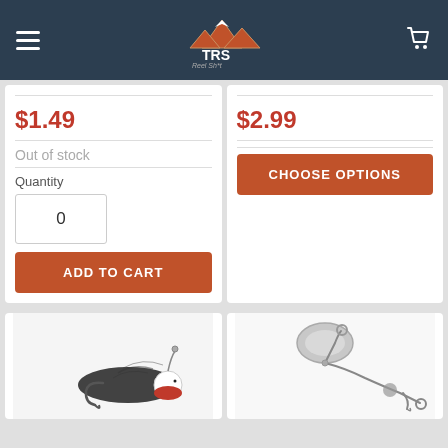TRS Reel Sh*t
$1.49
Out of stock
Quantity
0
ADD TO CART
$2.99
CHOOSE OPTIONS
[Figure (photo): Fishing jig lure, black with red and white head, hook visible, blurred background]
[Figure (photo): Fishing spinner bait lure with silver spoon blade and wire arm, blurred background]